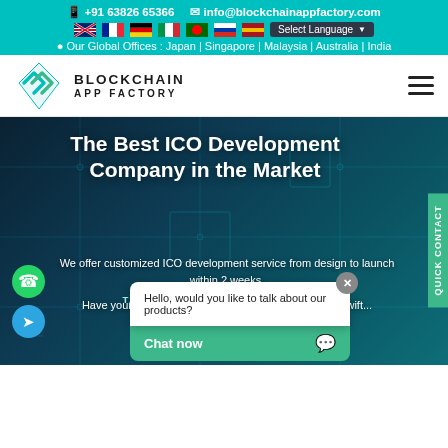📱 +91 63826 65366   ✉ info@blockchainappfactory.com   Our Global Offices : Japan | Singapore | Malaysia | Australia | India
[Figure (logo): Blockchain App Factory logo with teal diamond chevron icon and text BLOCKCHAIN APP FACTORY]
The Best ICO Development Company in the Market
We offer customized ICO development service from design to launch within 2 weeks. Have your hands on a unique Web 3.0-based ICO to swift...
TALK TO OUR ICO EXPERTS
Hello, would you like to talk about our products?
Chat now